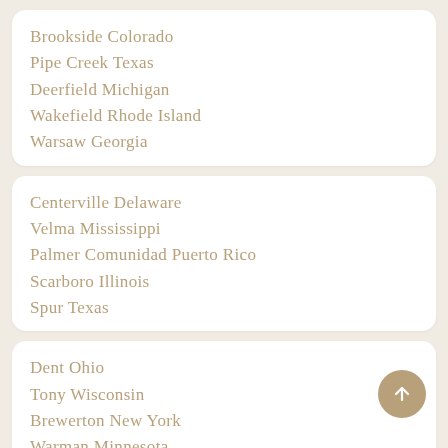Brookside Colorado
Pipe Creek Texas
Deerfield Michigan
Wakefield Rhode Island
Warsaw Georgia
Centerville Delaware
Velma Mississippi
Palmer Comunidad Puerto Rico
Scarboro Illinois
Spur Texas
Dent Ohio
Tony Wisconsin
Brewerton New York
Warman Minnesota
Warrenton Oregon